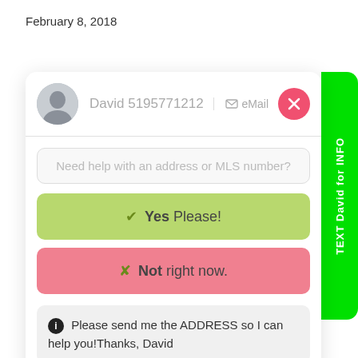February 8, 2018
[Figure (screenshot): A mobile chat/real-estate assistant widget showing a contact card for David 5195771212 with an eMail button and close button, a search input field reading 'Need help with an address or MLS number?', a green 'Yes Please!' button, a pink 'Not right now.' button, and an info message 'Please send me the ADDRESS so I can help you!Thanks, David'. A green sidebar on the right reads 'TEXT David for INFO'.]